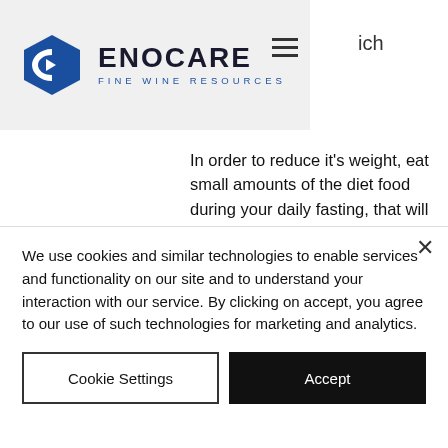[Figure (logo): Enocare Fine Wine Resources logo with hexagonal icon and text]
ich
In order to reduce it's weight, eat small amounts of the diet food during your daily fasting, that will result in a gradual weight loss. Just follow the following rules to begin losing weight and you will soon understand how to make your Cardarine work very well for you:
Don't cut back on your food too much during your days. You don't want to deprive your
We use cookies and similar technologies to enable services and functionality on our site and to understand your interaction with our service. By clicking on accept, you agree to our use of such technologies for marketing and analytics.